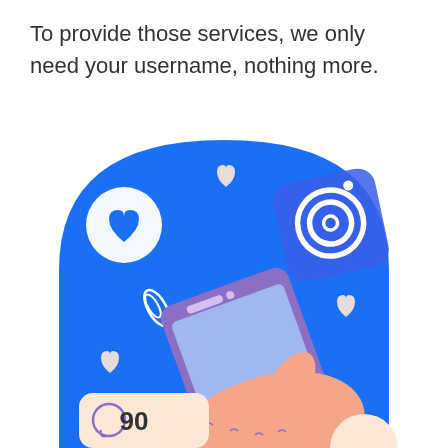To provide those services, we only need your username, nothing more.
[Figure (illustration): Illustration of a hand holding a smartphone with social media elements: Instagram camera icon (top right), heart/like icons floating around, a speech bubble showing '90' comments (bottom left), on a blue arched background.]